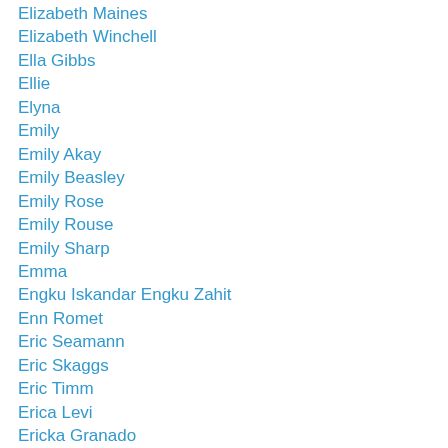Elizabeth Maines
Elizabeth Winchell
Ella Gibbs
Ellie
Elyna
Emily
Emily Akay
Emily Beasley
Emily Rose
Emily Rouse
Emily Sharp
Emma
Engku Iskandar Engku Zahit
Enn Romet
Eric Seamann
Eric Skaggs
Eric Timm
Erica Levi
Ericka Granado
Ericka Lipka